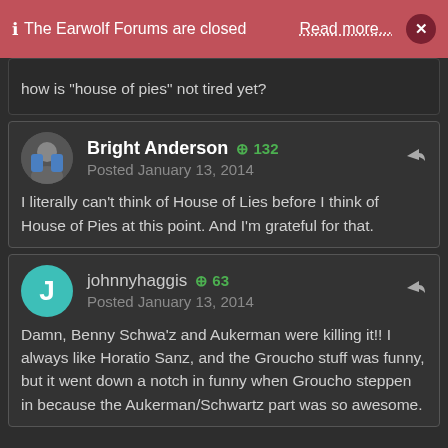ℹ The Earwolf Forums are closed   Read more...   ×
how is "house of pies" not tired yet?
Bright Anderson  +132
Posted January 13, 2014
I literally can't think of House of Lies before I think of House of Pies at this point. And I'm grateful for that.
johnnyhaggis  +63
Posted January 13, 2014
Damn, Benny Schwa'z and Aukerman were killing it!! I always like Horatio Sanz, and the Groucho stuff was funny, but it went down a notch in funny when Groucho steppen in because the Aukerman/Schwartz part was so awesome.